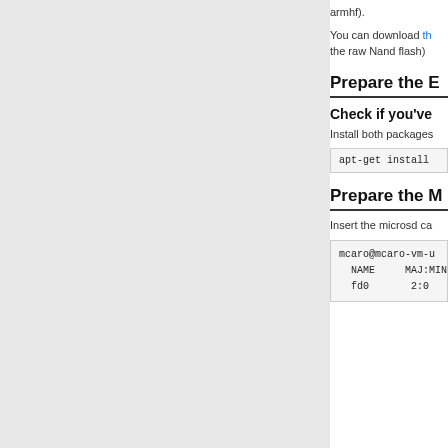armhf).
You can download th... the raw Nand flash)
Prepare the E
Check if you've
Install both packages
apt-get install
Prepare the M
Insert the microsd ca
mcaro@mcaro-vm-u
NAME      MAJ:MIN R
fd0       2:0